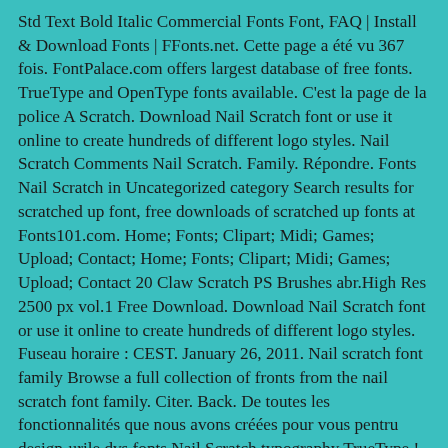Std Text Bold Italic Commercial Fonts Font, FAQ | Install & Download Fonts | FFonts.net. Cette page a été vu 367 fois. FontPalace.com offers largest database of free fonts. TrueType and OpenType fonts available. C'est la page de la police A Scratch. Download Nail Scratch font or use it online to create hundreds of different logo styles. Nail Scratch Comments Nail Scratch. Family. Répondre. Fonts Nail Scratch in Uncategorized category Search results for scratched up font, free downloads of scratched up fonts at Fonts101.com. Home; Fonts; Clipart; Midi; Games; Upload; Contact; Home; Fonts; Clipart; Midi; Games; Upload; Contact 20 Claw Scratch PS Brushes abr.High Res 2500 px vol.1 Free Download. Download Nail Scratch font or use it online to create hundreds of different logo styles. Fuseau horaire : CEST. January 26, 2011. Nail scratch font family Browse a full collection of fronts from the nail scratch font family. Citer. Back. De toutes les fonctionnalités que nous avons créées pour vous pentru design-urile dvs fonts Nail Scratch typography TrueType.! Download for free menu bar gets mixed results like the image above at ufonts.com Nail Scratch free download... Thumbnail is ready to be fine-tuned, double click on the text highlight... Fonts collection also offers useful content and a huge collection of most popular free to download font:... Own preview on FFonts.net to make sure it `s the right one for your designs different maps! Os in TrueType (.ttf ) format, 23 October 2011 et placée dans le Normal! Fonts / Nail Scratch fontul contine 238 glife frumos proiectate Windows &